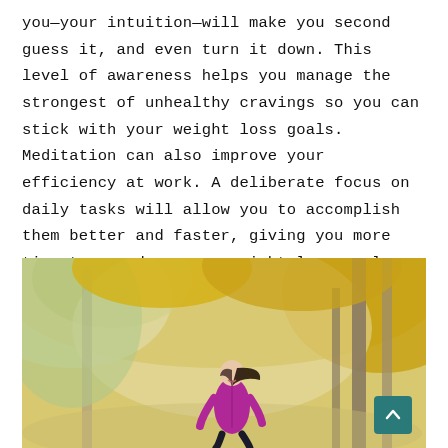you—your intuition—will make you second guess it, and even turn it down. This level of awareness helps you manage the strongest of unhealthy cravings so you can stick with your weight loss goals.  Meditation can also improve your efficiency at work. A deliberate focus on daily tasks will allow you to accomplish them better and faster, giving you more time to spend on your weight loss goals.
[Figure (photo): A woman in a magenta/pink athletic jacket running outdoors along a tree-lined path in autumn, with golden yellow foliage visible on the trees in the background. The scene is bright and colorful.]